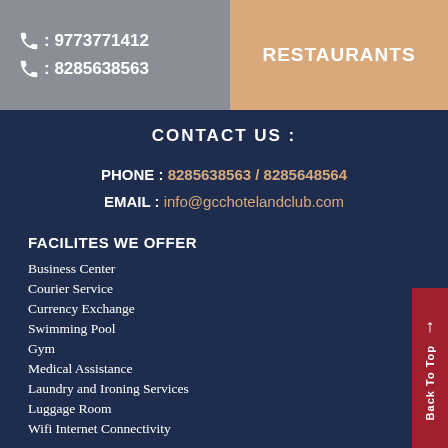: 9773771412
: 8285638563
RESTAURANTS
CONTACT US :
PHONE : 8285638563 / 8285648564
EMAIL : info@gcchotelandclub.com
FACILITES WE OFFER
Business Center
Courier Service
Currency Exchange
Swimming Pool
Gym
Medical Assistance
Laundry and Ironing Services
Luggage Room
Wifi Internet Connectivity